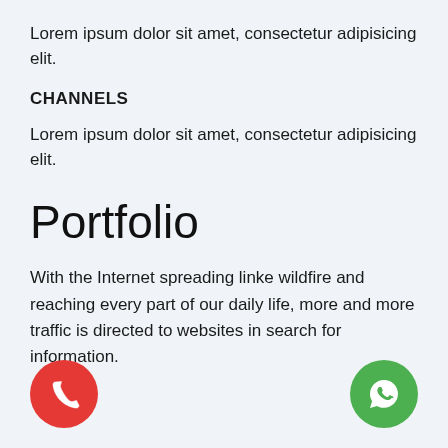Lorem ipsum dolor sit amet, consectetur adipisicing elit.
CHANNELS
Lorem ipsum dolor sit amet, consectetur adipisicing elit.
Portfolio
With the Internet spreading linke wildfire and reaching every part of our daily life, more and more traffic is directed to websites in search for information.
[Figure (illustration): Red circular phone call button icon at bottom left]
[Figure (illustration): Green circular WhatsApp icon at bottom right]